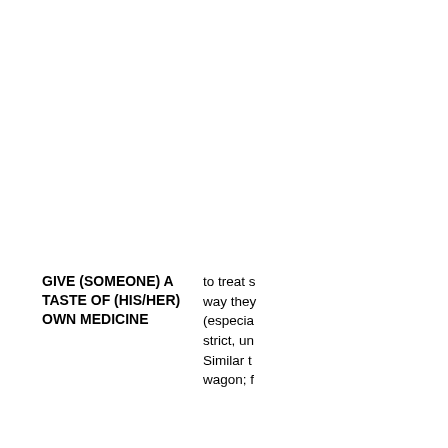GIVE (SOMEONE) A TASTE OF (HIS/HER) OWN MEDICINE
to treat s... way they... (especia... strict, un...
Similar t... wagon; f...